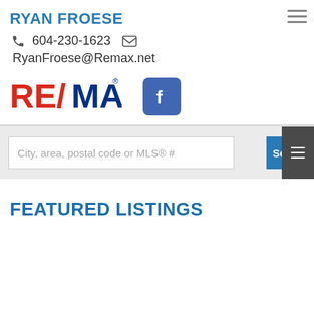RYAN FROESE
604-230-1623
RyanFroese@Remax.net
[Figure (logo): RE/MAX logo in red and blue with slash]
[Figure (logo): Facebook logo icon, blue rounded square with white f]
City, area, postal code or MLS® #
Search
FEATURED LISTINGS